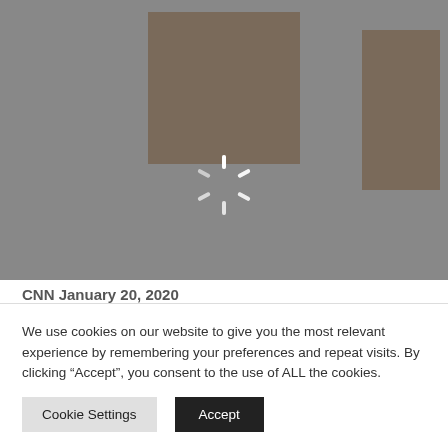[Figure (photo): Greyed out webpage background with image area showing faded photographs, a loading spinner in the center, and partially visible article content about Madonna's Madame X Tour cancellations in Lisbon.]
CNN January 20, 2020
Madonna unfortunately has to cancel two shows during her Madame X Tour in Lisbon and reported on the first cancellation along with pictures of the scene at the Coliseu
We use cookies on our website to give you the most relevant experience by remembering your preferences and repeat visits. By clicking “Accept”, you consent to the use of ALL the cookies.
Cookie Settings
Accept